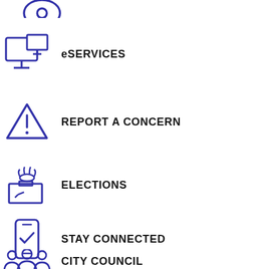[Figure (illustration): Partial icon at top (location/map pin icon in blue)]
eSERVICES
REPORT A CONCERN
ELECTIONS
STAY CONNECTED
CITY COUNCIL